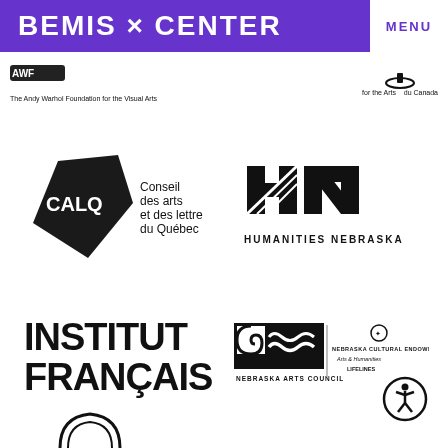BEMIS × CENTER
MENU
[Figure (logo): The Andy Warhol Foundation for the Visual Arts logo (partially visible) with text below]
[Figure (logo): Canada Council for the Arts / Conseil des arts du Canada logo (partially visible), text: for the Arts / du Canada]
[Figure (logo): CALQ - Conseil des arts et des lettres du Québec logo]
[Figure (logo): Humanities Nebraska logo with HN lettermark]
[Figure (logo): Institut Français logo in bold black condensed type]
[Figure (logo): Nebraska Arts Council logo with spiral graphic, combined with Nebraska Cultural Endowment Arts & Humanities Lifelines]
[Figure (logo): Accessibility icon - person in circle symbol]
[Figure (logo): Partial circular logo at bottom of page (partially visible)]